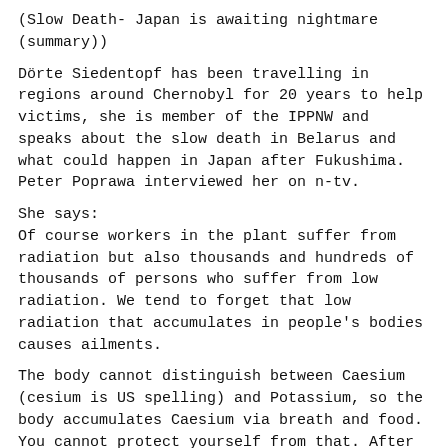(Slow Death- Japan is awaiting nightmare (summary))
Dörte Siedentopf has been travelling in regions around Chernobyl for 20 years to help victims, she is member of the IPPNW and speaks about the slow death in Belarus and what could happen in Japan after Fukushima. Peter Poprawa interviewed her on n-tv.
She says:
Of course workers in the plant suffer from radiation but also thousands and hundreds of thousands of persons who suffer from low radiation. We tend to forget that low radiation that accumulates in people's bodies causes ailments.
The body cannot distinguish between Caesium (cesium is US spelling) and Potassium, so the body accumulates Caesium via breath and food. You cannot protect yourself from that. After ingestion, the body integrates Caesium in its cells and destroys the energy balance of the cells. That is, of all kinds of cells! The cells die afterwards.
Children are more endangered than adults, because their cells divide themselves constantly. Because they grow, they need permanent energy and have to deal with the impairment of their cells. With children, ailments will start earlier, one to four years